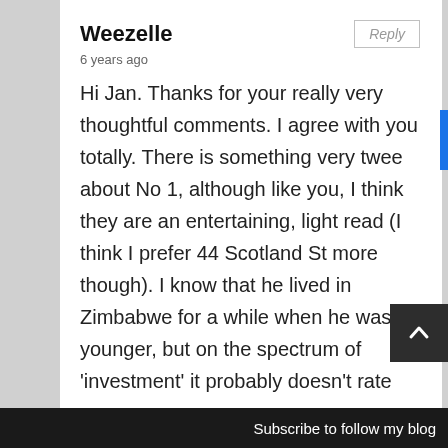Weezelle
6 years ago
Hi Jan. Thanks for your really very thoughtful comments. I agree with you totally. There is something very twee about No 1, although like you, I think they are an entertaining, light read (I think I prefer 44 Scotland St more though). I know that he lived in Zimbabwe for a while when he was younger, but on the spectrum of 'investment' it probably doesn't rate
Subscribe to follow my blog